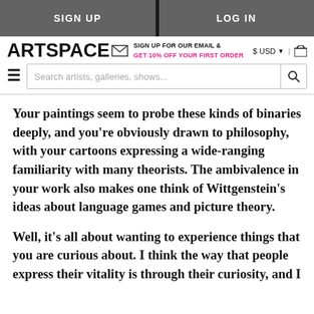SIGN UP | LOG IN
ARTSPACE — SIGN UP FOR OUR EMAIL & GET 10% OFF YOUR FIRST ORDER — $ USD | cart
Your paintings seem to probe these kinds of binaries deeply, and you're obviously drawn to philosophy, with your cartoons expressing a wide-ranging familiarity with many theorists. The ambivalence in your work also makes one think of Wittgenstein's ideas about language games and picture theory.
Well, it's all about wanting to experience things that you are curious about. I think the way that people express their vitality is through their curiosity, and I